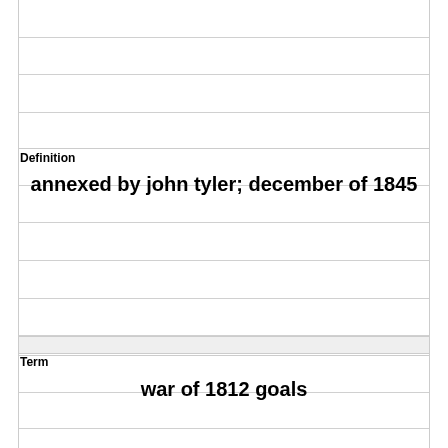Definition
annexed by john tyler; december of 1845
Term
war of 1812 goals